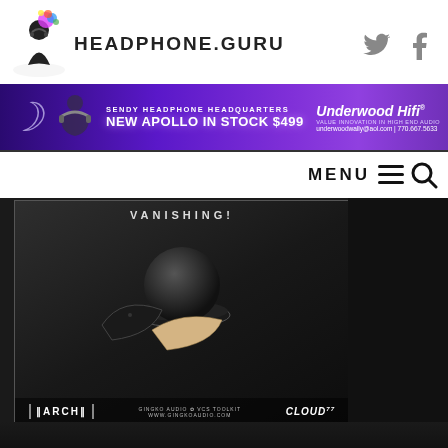HEADPHONE.GURU
[Figure (photo): Headphone.guru website logo with meditating figure and colorful brain splash]
[Figure (photo): Twitter and Facebook social media icons]
[Figure (photo): Advertisement banner: Sendy Headphone Headquarters - New Apollo In Stock $499, Underwood HiFi, underwoodwally@aol.com | 770.667.5633]
MENU
[Figure (photo): Product advertisement image: VANISHING! - Gingko Audio VCS Toolkit showing black dome and curved wood pieces labeled ARCH, GINGKO AUDIO VCS TOOLKIT www.gingkoaudio.com, CLOUD]